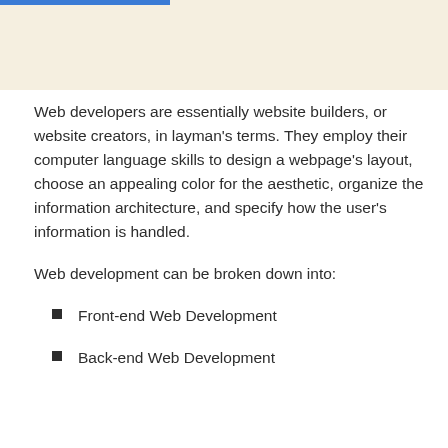Web developers are essentially website builders, or website creators, in layman's terms. They employ their computer language skills to design a webpage's layout, choose an appealing color for the aesthetic, organize the information architecture, and specify how the user's information is handled.
Web development can be broken down into:
Front-end Web Development
Back-end Web Development